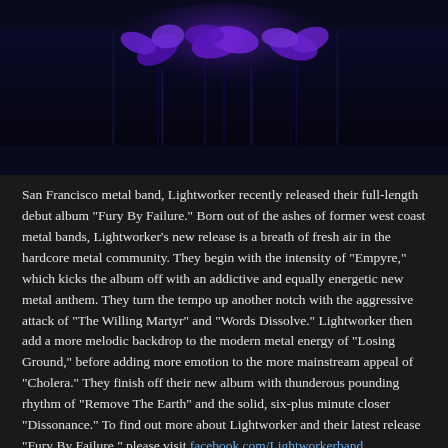[Figure (photo): Dark background image with purple flowers/butterflies visible at the top against a deep navy/black background with vertical light streaks]
San Francisco metal band, Lightworker recently released their full-length debut album "Fury By Failure." Born out of the ashes of former west coast metal bands, Lightworker's new release is a breath of fresh air in the hardcore metal community. They begin with the intensity of "Empyre," which kicks the album off with an addictive and equally energetic new metal anthem. They turn the tempo up another notch with the aggressive attack of "The Willing Martyr" and "Words Dissolve." Lightworker then add a more melodic backdrop to the modern metal energy of "Losing Ground," before adding more emotion to the more mainstream appeal of "Cholera." They finish off their new album with thunderous pounding rhythm of "Remove The Earth" and the solid, six-plus minute closer "Dissonance." To find out more about Lightworker and their latest release "Fury By Failure," please visit facebook.com/Lightworkerband.
JP's Music Blog    No comments: